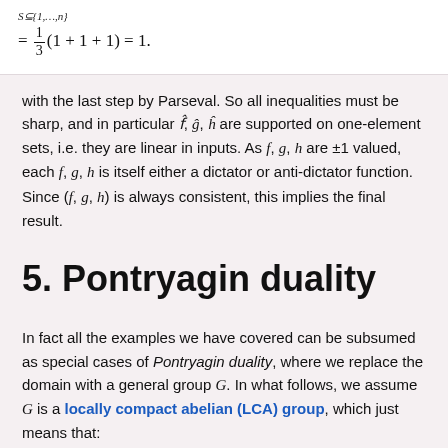with the last step by Parseval. So all inequalities must be sharp, and in particular f̂, ĝ, ĥ are supported on one-element sets, i.e. they are linear in inputs. As f, g, h are ±1 valued, each f, g, h is itself either a dictator or anti-dictator function. Since (f, g, h) is always consistent, this implies the final result.
5. Pontryagin duality
In fact all the examples we have covered can be subsumed as special cases of Pontryagin duality, where we replace the domain with a general group G. In what follows, we assume G is a locally compact abelian (LCA) group, which just means that: